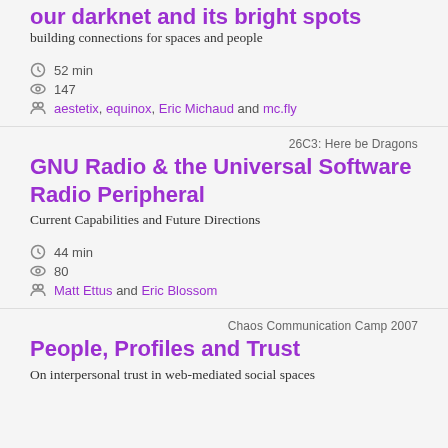our darknet and its bright spots
building connections for spaces and people
52 min
147
aestetix, equinox, Eric Michaud and mc.fly
26C3: Here be Dragons
GNU Radio & the Universal Software Radio Peripheral
Current Capabilities and Future Directions
44 min
80
Matt Ettus and Eric Blossom
Chaos Communication Camp 2007
People, Profiles and Trust
On interpersonal trust in web-mediated social spaces